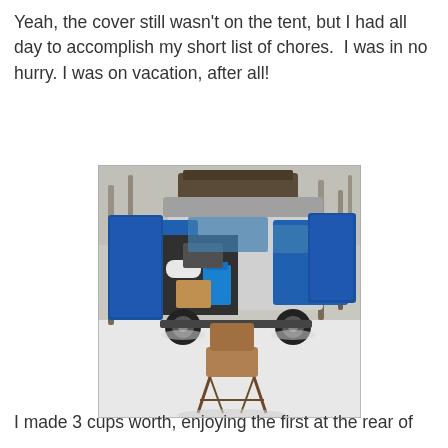Yeah, the cover still wasn't on the tent, but I had all day to accomplish my short list of chores.  I was in no hurry. I was on vacation, after all!
[Figure (photo): A blue Toyota FJ Cruiser SUV with all doors open, parked in a snowy wooded area. The rear cargo area is loaded with gear including a blue jerry can, cooler, and supplies. A folding camp chair sits in the snow behind the vehicle. The roof rack is loaded with additional gear. Snow covers the ground and bare winter trees are visible in the background.]
I made 3 cups worth, enjoying the first at the rear of